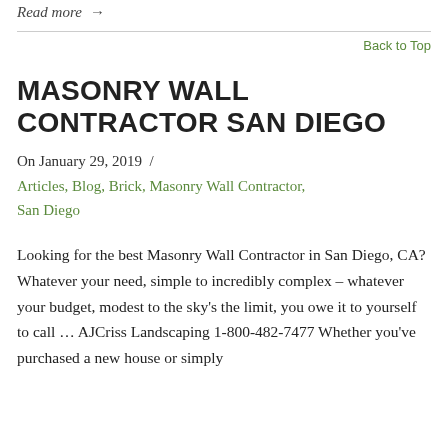Read more →
Back to Top
MASONRY WALL CONTRACTOR SAN DIEGO
On January 29, 2019  /
Articles, Blog, Brick, Masonry Wall Contractor, San Diego
Looking for the best Masonry Wall Contractor in San Diego, CA? Whatever your need, simple to incredibly complex – whatever your budget, modest to the sky's the limit, you owe it to yourself to call … AJCriss Landscaping 1-800-482-7477 Whether you've purchased a new house or simply